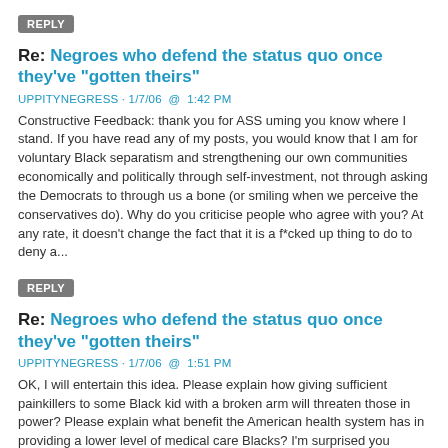REPLY
Re: Negroes who defend the status quo once they've "gotten theirs"
UPPITYNEGRESS · 1/7/06  @  1:42 PM
Constructive Feedback: thank you for ASS uming you know where I stand. If you have read any of my posts, you would know that I am for voluntary Black separatism and strengthening our own communities economically and politically through self-investment, not through asking the Democrats to through us a bone (or smiling when we perceive the conservatives do). Why do you criticise people who agree with you? At any rate, it doesn't change the fact that it is a f*cked up thing to do to deny a...
REPLY
Re: Negroes who defend the status quo once they've "gotten theirs"
UPPITYNEGRESS · 1/7/06  @  1:51 PM
OK, I will entertain this idea. Please explain how giving sufficient painkillers to some Black kid with a broken arm will threaten those in power? Please explain what benefit the American health system has in providing a lower level of medical care Blacks? I'm surprised you haven't argued the other